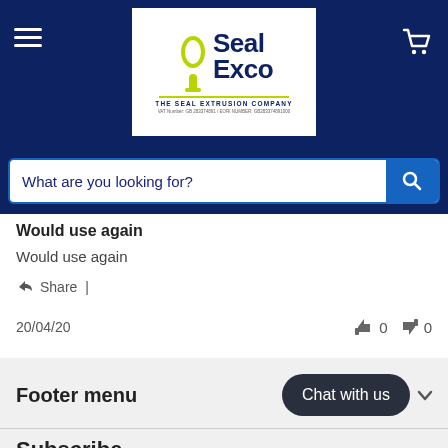[Figure (logo): SealExco - The Seal Extrusion Company logo with VAT Number GB 283374891 / EORI NUMBER: GB283374891000]
What are you looking for?
Would use again
Would use again
Share  |
20/04/20
0  0
Footer menu
Chat with us
Subscribe